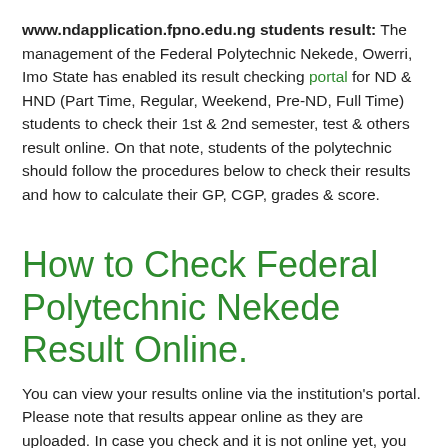www.ndapplication.fpno.edu.ng students result: The management of the Federal Polytechnic Nekede, Owerri, Imo State has enabled its result checking portal for ND & HND (Part Time, Regular, Weekend, Pre-ND, Full Time) students to check their 1st & 2nd semester, test & others result online. On that note, students of the polytechnic should follow the procedures below to check their results and how to calculate their GP, CGP, grades & score.
How to Check Federal Polytechnic Nekede Result Online.
You can view your results online via the institution's portal. Please note that results appear online as they are uploaded. In case you check and it is not online yet, you may check back.